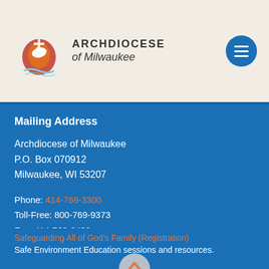[Figure (logo): Archdiocese of Milwaukee logo with flame and dove symbol]
Mailing Address
Archdiocese of Milwaukee
P.O. Box 070912
Milwaukee, WI 53207
Phone: 414-769-3300
Toll-Free: 800-769-9373
Fax: 414-769-3408
[Figure (infographic): Social media icons: Facebook, Twitter, Instagram, YouTube]
Safeguarding All of God's Family (Registration)
Safe Environment Education sessions and resources.